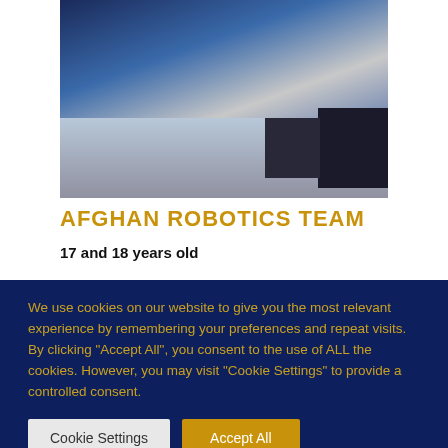[Figure (photo): Photograph of the Afghan Robotics Team members working at a table with robotics equipment, cables, and components visible]
AFGHAN ROBOTICS TEAM
17 and 18 years old
We use cookies on our website to give you the most relevant experience by remembering your preferences and repeat visits. By clicking "Accept All", you consent to the use of ALL the cookies. However, you may visit "Cookie Settings" to provide a controlled consent.